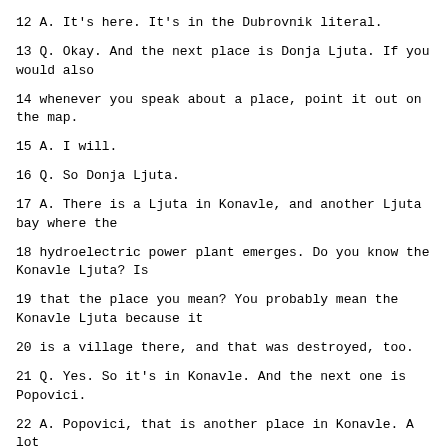12 A. It's here. It's in the Dubrovnik literal.
13 Q. Okay. And the next place is Donja Ljuta. If you would also
14 whenever you speak about a place, point it out on the map.
15 A. I will.
16 Q. So Donja Ljuta.
17 A. There is a Ljuta in Konavle, and another Ljuta bay where the
18 hydroelectric power plant emerges. Do you know the Konavle Ljuta? Is
19 that the place you mean? You probably mean the Konavle Ljuta because it
20 is a village there, and that was destroyed, too.
21 Q. Yes. So it's in Konavle. And the next one is Popovici.
22 A. Popovici, that is another place in Konavle. A lot of it was
23 destroyed, but as far as I remember, not completely. Not like Cilipi,